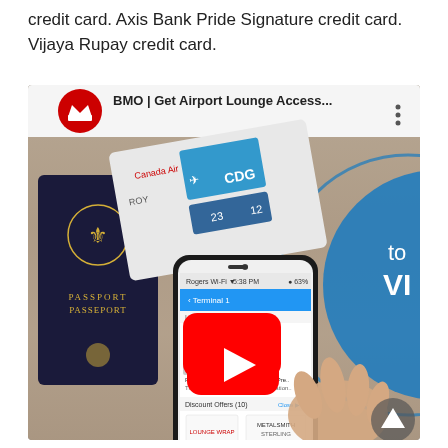credit card. Axis Bank Pride Signature credit card. Vijaya Rupay credit card.
[Figure (screenshot): YouTube video thumbnail showing a BMO bank advertisement titled 'BMO | Get Airport Lounge Access...' featuring a passport, airline boarding pass (Canada Air, CDG, ROY), a smartphone showing an airport lounge app (Terminal 1, with lounges and discount offers listed), and a hand touching the phone screen. A red YouTube play button is centered on the image. A blue circular graphic is visible on the right side. The video has a navigation arrow button in the lower right corner.]